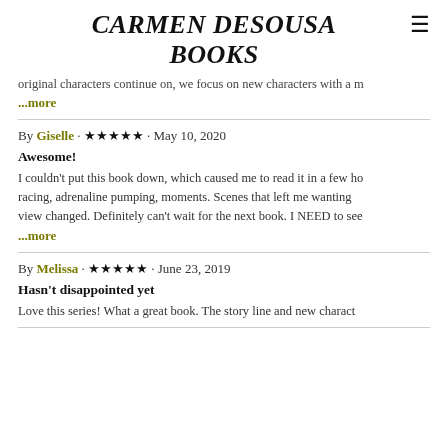CARMEN DESOUSA BOOKS
original characters continue on, we focus on new characters with a m
...more
By Giselle · ★★★★★ · May 10, 2020
Awesome!
I couldn't put this book down, which caused me to read it in a few ho racing, adrenaline pumping, moments. Scenes that left me wanting view changed. Definitely can't wait for the next book. I NEED to see
...more
By Melissa · ★★★★★ · June 23, 2019
Hasn't disappointed yet
Love this series! What a great book. The story line and new charact